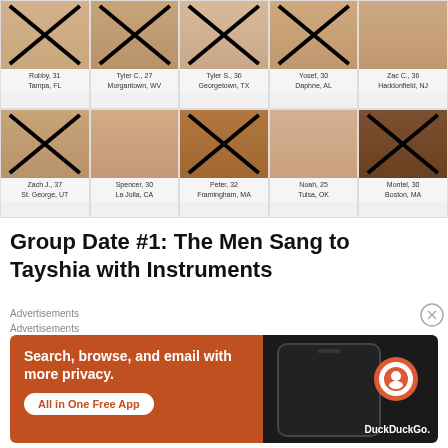[Figure (photo): Grid of 10 contestant photos (5 per row, 2 rows). Row 1: Robby 31 Tampa FL; Tyler C. 27 Morgantown WV; Tyler S. 36 Georgetown TX; Yosef 30 Daphne AL; Zac C. 36 Haddonfield NJ. Row 2: Zach J. 37 St. George UT; Spencer 30 La Jolla CA; Peter 32 Framingham MA; Noah 25 Tulsa OK; Montel 30 Boston MA. Most photos have an X cross overlay indicating elimination.]
Group Date #1: The Men Sang to Tayshia with Instruments
Advertisements
Advertisements
[Figure (screenshot): DuckDuckGo advertisement banner with orange background. Text: Search, browse, and email with more privacy. All in One Free App. DuckDuckGo logo on right side with phone graphic.]